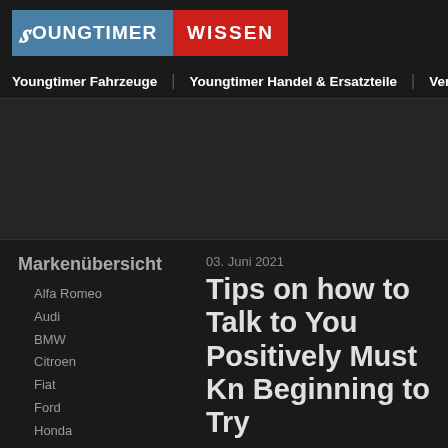YOUNGTIMER WISSEN
Youngtimer Fahrzeuge   Youngtimer Handel & Ersatzteile   Verweise
[Figure (other): Advertisement banner area, dark background]
Markenübersicht
Alfa Romeo
Audi
BMW
Citroen
Fiat
Ford
Honda
Jeep
Mazda
Mercedes
Opel
Porsche
03. Juni 2021
Tips on how to Talk to You Positively Must Kn Beginning to Try
Michl in Allgemein
Are you interested in learning how to talk to activity when you can't say for sure where t with interesting people and interestings